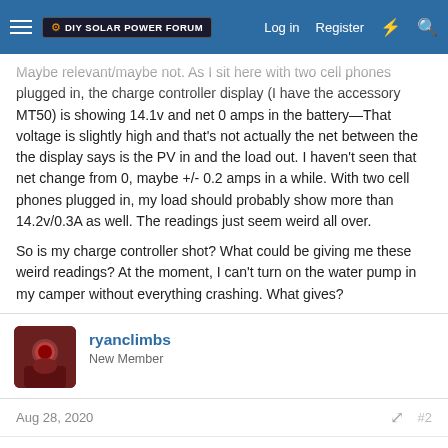DIY Solar Power Forum  Log in  Register
Maybe relevant/maybe not. As I sit here with two cell phones plugged in, the charge controller display (I have the accessory MT50) is showing 14.1v and net 0 amps in the battery—That voltage is slightly high and that's not actually the net between the the display says is the PV in and the load out. I haven't seen that net change from 0, maybe +/- 0.2 amps in a while. With two cell phones plugged in, my load should probably show more than 14.2v/0.3A as well. The readings just seem weird all over.

So is my charge controller shot? What could be giving me these weird readings? At the moment, I can't turn on the water pump in my camper without everything crashing. What gives?
ryanclimbs
New Member
Aug 28, 2020  #2
One more note now that I'm paying more attention. It looks like